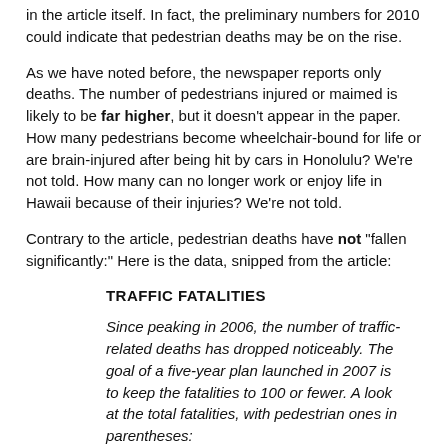in the article itself. In fact, the preliminary numbers for 2010 could indicate that pedestrian deaths may be on the rise.
As we have noted before, the newspaper reports only deaths. The number of pedestrians injured or maimed is likely to be far higher, but it doesn't appear in the paper. How many pedestrians become wheelchair-bound for life or are brain-injured after being hit by cars in Honolulu? We're not told. How many can no longer work or enjoy life in Hawaii because of their injuries? We're not told.
Contrary to the article, pedestrian deaths have not "fallen significantly:" Here is the data, snipped from the article:
TRAFFIC FATALITIES
Since peaking in 2006, the number of traffic-related deaths has dropped noticeably. The goal of a five-year plan launched in 2007 is to keep the fatalities to 100 or fewer. A look at the total fatalities, with pedestrian ones in parentheses:
2003: 133 (23 pedestrians)
2004: 142 (31 pedestrians)